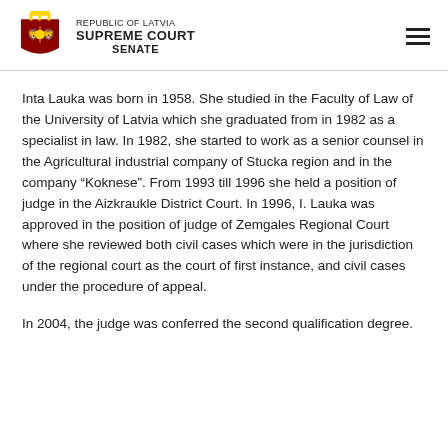REPUBLIC OF LATVIA SUPREME COURT SENATE
Inta Lauka was born in 1958. She studied in the Faculty of Law of the University of Latvia which she graduated from in 1982 as a specialist in law. In 1982, she started to work as a senior counsel in the Agricultural industrial company of Stucka region and in the company “Koknese”. From 1993 till 1996 she held a position of judge in the Aizkraukle District Court. In 1996, I. Lauka was approved in the position of judge of Zemgales Regional Court where she reviewed both civil cases which were in the jurisdiction of the regional court as the court of first instance, and civil cases under the procedure of appeal.
In 2004, the judge was conferred the second qualification degree.